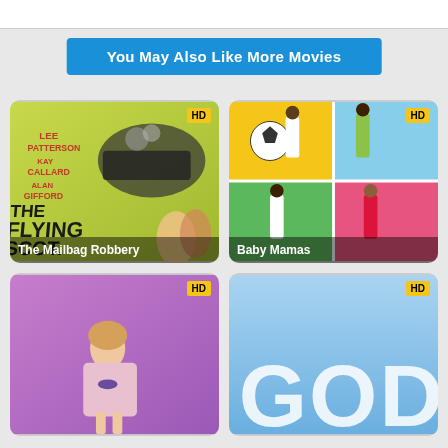You May Also Like More Movies
[Figure (other): Movie poster for The Mailbag Robbery (The Flying Scot) with HD badge]
[Figure (other): Movie poster for Baby Mamas with HD badge]
[Figure (other): Movie poster bottom left with HD badge]
[Figure (other): Movie poster bottom right with GOD text and HD badge]